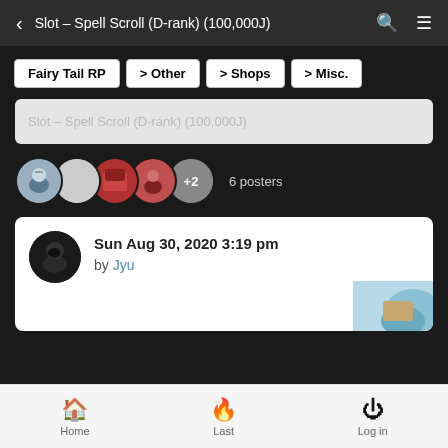< Slot – Spell Scroll (D-rank) (100,000J)
Fairy Tail RP > Other > Shops > Misc.
Slot – Spell Scroll (D-rank) (100,000J)
6 posters
Sun Aug 30, 2020 3:19 pm
by Jyu
Home  Last  Log in